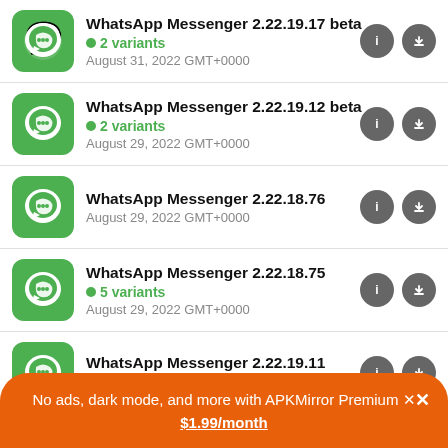WhatsApp Messenger 2.22.19.17 beta | 2 variants | August 31, 2022 GMT+0000
WhatsApp Messenger 2.22.19.12 beta | 2 variants | August 29, 2022 GMT+0000
WhatsApp Messenger 2.22.18.76 | August 29, 2022 GMT+0000
WhatsApp Messenger 2.22.18.75 | 5 variants | August 29, 2022 GMT+0000
WhatsApp Messenger 2.22.19.11 | 2 variants
No ads, dark mode, and more with APKMirror Premium × $1.99/month